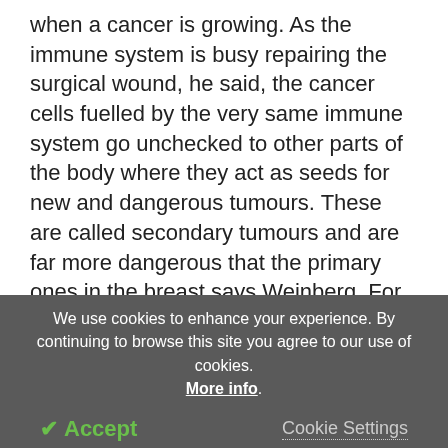when a cancer is growing. As the immune system is busy repairing the surgical wound, he said, the cancer cells fuelled by the very same immune system go unchecked to other parts of the body where they act as seeds for new and dangerous tumours. These are called secondary tumours and are far more dangerous that the primary ones in the breast says Weinberg. For example when the tumours have spread to the brain, lungs or liver, they are more likely to become life threatening sooner than when they are confined to the breast.
We use cookies to enhance your experience. By continuing to browse this site you agree to our use of cookies. More info. ✓ Accept  Cookie Settings